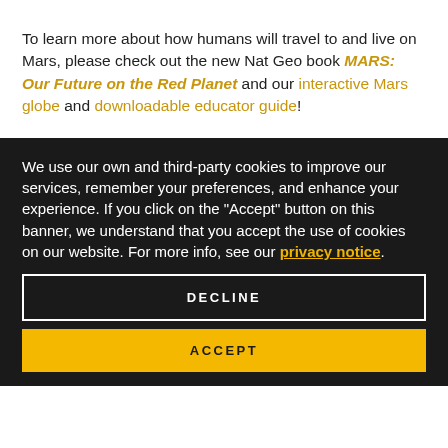To learn more about how humans will travel to and live on Mars, please check out the new Nat Geo book MARS: Our Future on the Red Planet and our interactive Mars globe and downloadable educator guide!
We use our own and third-party cookies to improve our services, remember your preferences, and enhance your experience. If you click on the "Accept" button on this banner, we understand that you accept the use of cookies on our website. For more info, see our privacy notice.